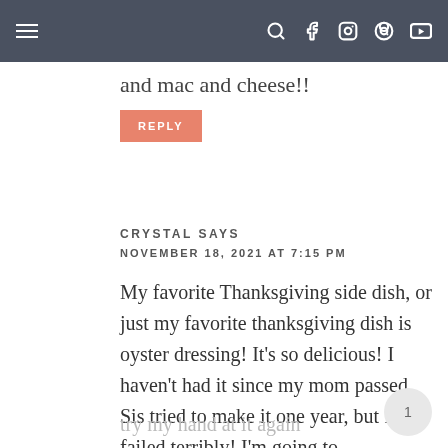Navigation bar with hamburger menu and social icons
and mac and cheese!!
REPLY
CRYSTAL SAYS
NOVEMBER 18, 2021 AT 7:15 PM
My favorite Thanksgiving side dish, or just my favorite thanksgiving dish is oyster dressing! It’s so delicious! I haven’t had it since my mom passed. Sis tried to make it one year, but I failed terribly! I’m going to try my hand at it again